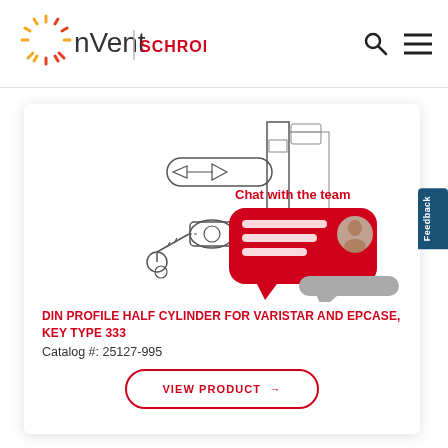[Figure (logo): nVent SCHROFF logo with sunburst icon in red/orange/yellow]
[Figure (illustration): DIN profile half cylinder lock product schematic showing cylinder, keys, and door panel installation, with 'Chat with the team' overlay and red chat bubble with person avatar]
DIN PROFILE HALF CYLINDER FOR VARISTAR AND EPCASE, KEY TYPE 333
Catalog #: 25127-995
VIEW PRODUCT →